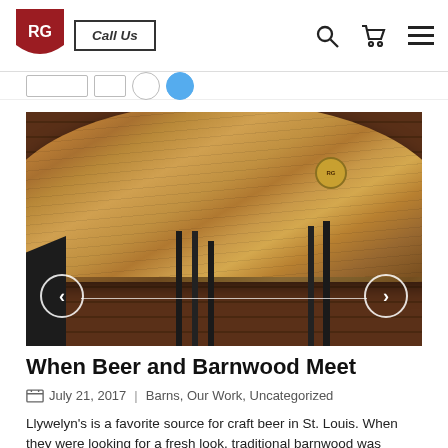RG | Call Us
[Figure (photo): Photo of a round barnwood table top with metal pipe legs and bar stools in a restaurant setting]
When Beer and Barnwood Meet
July 21, 2017 | Barns, Our Work, Uncategorized
Llywelyn's is a favorite source for craft beer in St. Louis. When they were looking for a fresh look, traditional barnwood was chosen in the